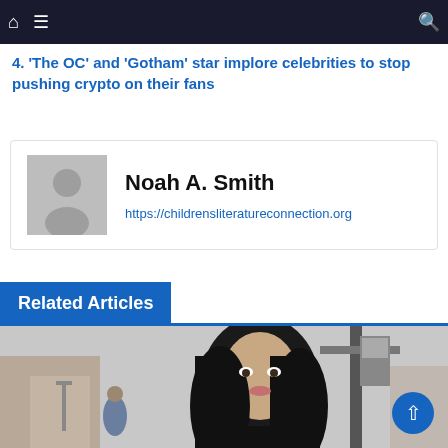Navigation bar with home icon, menu icon, and search icon
4. 'The OC' and 'Gotham' star implore celebrities to stop pushing crypto on their fans
Noah A. Smith
https://childrensliteratureconnection.org
Related Articles
[Figure (photo): A woman with long dark hair standing outdoors in what appears to be a European city square or street setting]